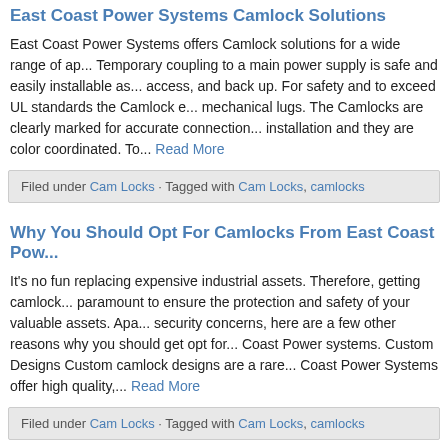East Coast Power Systems Camlock Solutions
East Coast Power Systems offers Camlock solutions for a wide range of ap... Temporary coupling to a main power supply is safe and easily installable as... access, and back up. For safety and to exceed UL standards the Camlock e... mechanical lugs. The Camlocks are clearly marked for accurate connection... installation and they are color coordinated. To... Read More
Filed under Cam Locks · Tagged with Cam Locks, camlocks
Why You Should Opt For Camlocks From East Coast Pow...
It's no fun replacing expensive industrial assets. Therefore, getting camlock... paramount to ensure the protection and safety of your valuable assets. Apa... security concerns, here are a few other reasons why you should get opt for... Coast Power systems. Custom Designs Custom camlock designs are a rare... Coast Power Systems offer high quality,... Read More
Filed under Cam Locks · Tagged with Cam Locks, camlocks
Emergency Power Parts: The Camlock
If you are looking to install or maintain an emergency power system, there a... need to look out for when considering and reviewing your system. To begin... systems are an integral part of any power system as they provide much ne...